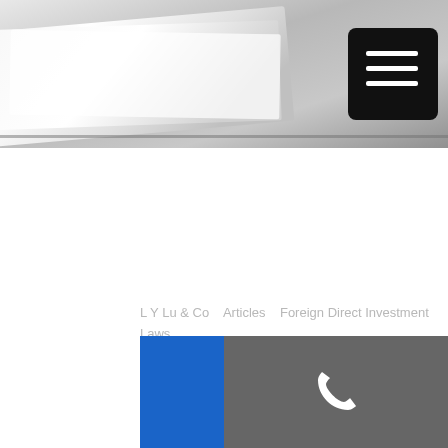[Figure (photo): Header banner with hands holding documents, gradient grey background with menu icon button in top right corner]
L Y Lu & Co   Articles   Foreign Direct Investment Laws
FOREIGN DIRECT INVESTMENT (FDI) in Malaysia: SETTING UP OF MANUFACTURING BUSINESS IN MALAYSIA (PART 1)
FOREIGN DIRECT
[Figure (infographic): Bottom navigation bar with blue left half (edit/document icon) and grey right half (phone icon)]